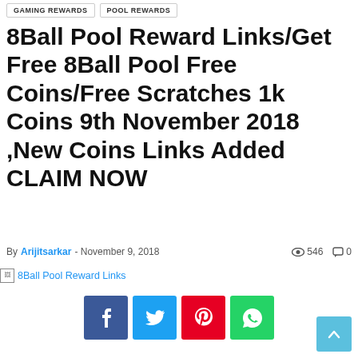GAMING REWARDS | POOL REWARDS
8Ball Pool Reward Links/Get Free 8Ball Pool Free Coins/Free Scratches 1k Coins 9th November 2018 ,New Coins Links Added CLAIM NOW
By Arijitsarkar - November 9, 2018  546  0
[Figure (other): Broken image placeholder with text link: 8Ball Pool Reward Links]
[Figure (infographic): Social share buttons: Facebook (f), Twitter (bird), Pinterest (P), WhatsApp (phone)]